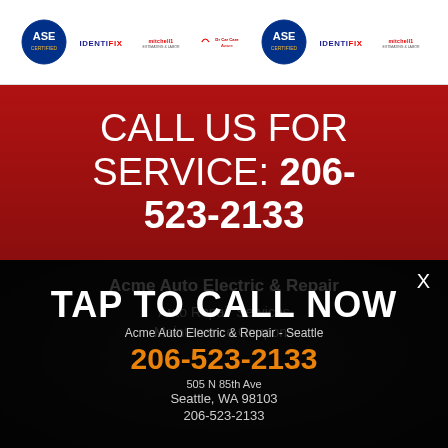[Figure (logo): Row of certification and partner logos: ASE Certified, IDENTIFIX, Mitchell1, Dr. Car Care Aware, ASE Certified (repeat), IDENTIFIX (repeat), Mitchell1 (repeat)]
CALL US FOR SERVICE: 206-523-2133
Acme Auto Electric & Repair
Auto Repair Services
Maintenance Coupons
TAP TO CALL NOW
Acme Auto Electric & Repair - Seattle
206-523-2133
505 N 85th Ave
Seattle, WA 98103
206-523-2133